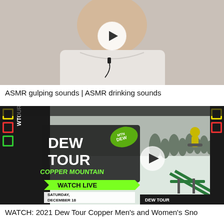[Figure (screenshot): Video thumbnail showing a person in white shirt with lavalier microphone, with a circular play button overlay]
ASMR gulping sounds | ASMR drinking sounds
[Figure (screenshot): Video thumbnail for Dew Tour Copper Mountain event, showing snowboarder on a rail, with DEW TOUR MTN DEW logo, WATCH LIVE banner, SATURDAY DECEMBER 18 text, and a circular play button overlay]
WATCH: 2021 Dew Tour Copper Men's and Women's Sno